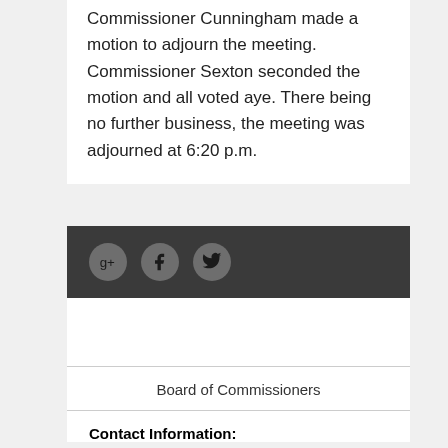Commissioner Cunningham made a motion to adjourn the meeting. Commissioner Sexton seconded the motion and all voted aye. There being no further business, the meeting was adjourned at 6:20 p.m.
[Figure (other): Dark gray bar with three social media icons: Google+, Facebook, and Twitter, each in a dark circular button]
Board of Commissioners
Contact Information: